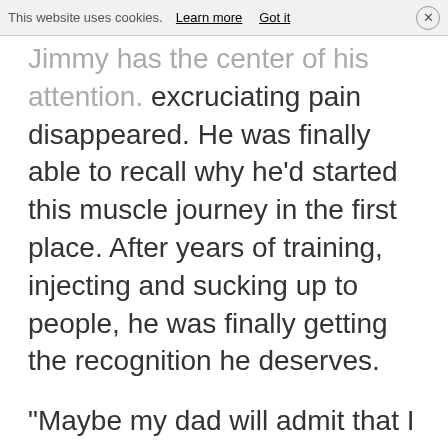This website uses cookies. Learn more  Got it
Jimmy has the center of his attention. excruciating pain disappeared. He was finally able to recall why he’d started this muscle journey in the first place. After years of training, injecting and sucking up to people, he was finally getting the recognition he deserves.
“Maybe my dad will admit that I am not a failure,” thought Jimmy while thinking about his dream from last night.
In the evening Jimmy found himself sitting alone in his apartment. He was drinking a